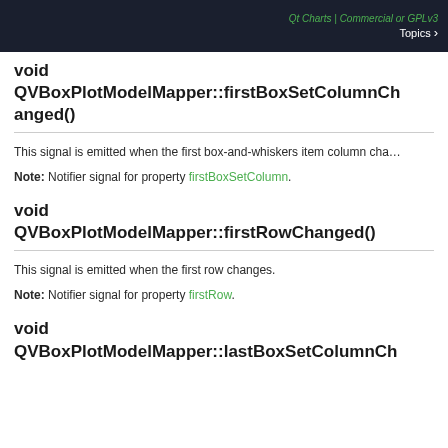Qt Charts | Commercial or GPLv3  Topics >
void QVBoxPlotModelMapper::firstBoxSetColumnChanged()
This signal is emitted when the first box-and-whiskers item column changes.
Note: Notifier signal for property firstBoxSetColumn.
void QVBoxPlotModelMapper::firstRowChanged()
This signal is emitted when the first row changes.
Note: Notifier signal for property firstRow.
void QVBoxPlotModelMapper::lastBoxSetColumnChanged()